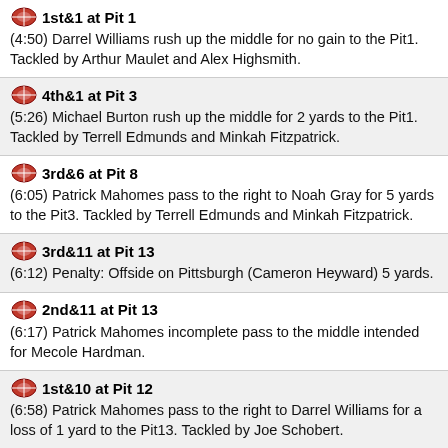1st&1 at Pit 1
(4:50) Darrel Williams rush up the middle for no gain to the Pit1. Tackled by Arthur Maulet and Alex Highsmith.
4th&1 at Pit 3
(5:26) Michael Burton rush up the middle for 2 yards to the Pit1. Tackled by Terrell Edmunds and Minkah Fitzpatrick.
3rd&6 at Pit 8
(6:05) Patrick Mahomes pass to the right to Noah Gray for 5 yards to the Pit3. Tackled by Terrell Edmunds and Minkah Fitzpatrick.
3rd&11 at Pit 13
(6:12) Penalty: Offside on Pittsburgh (Cameron Heyward) 5 yards.
2nd&11 at Pit 13
(6:17) Patrick Mahomes incomplete pass to the middle intended for Mecole Hardman.
1st&10 at Pit 12
(6:58) Patrick Mahomes pass to the right to Darrel Williams for a loss of 1 yard to the Pit13. Tackled by Joe Schobert.
1st&10 at Pit 25
(7:45) Patrick Mahomes pass to the middle to Darrel Williams for 13 yards to the Pit12. Tackled by Arthur Maulet and Robert Spillane.
2nd&6 at Pit 34